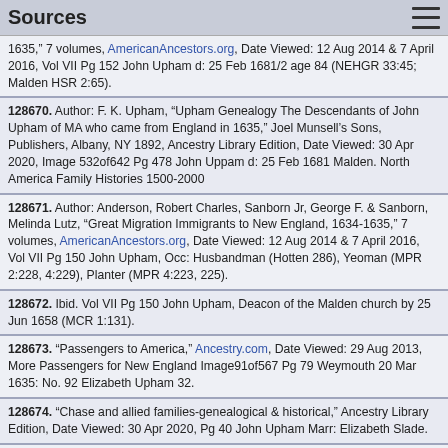Sources
1635,” 7 volumes, AmericanAncestors.org, Date Viewed: 12 Aug 2014 & 7 April 2016, Vol VII Pg 152 John Upham d: 25 Feb 1681/2 age 84 (NEHGR 33:45; Malden HSR 2:65).
128670. Author: F. K. Upham, “Upham Genealogy The Descendants of John Upham of MA who came from England in 1635,” Joel Munsell’s Sons, Publishers, Albany, NY 1892, Ancestry Library Edition, Date Viewed: 30 Apr 2020, Image 532of642 Pg 478 John Uppam d: 25 Feb 1681 Malden. North America Family Histories 1500-2000
128671. Author: Anderson, Robert Charles, Sanborn Jr, George F. & Sanborn, Melinda Lutz, “Great Migration Immigrants to New England, 1634-1635,” 7 volumes, AmericanAncestors.org, Date Viewed: 12 Aug 2014 & 7 April 2016, Vol VII Pg 150 John Upham, Occ: Husbandman (Hotten 286), Yeoman (MPR 2:228, 4:229), Planter (MPR 4:223, 225).
128672. Ibid. Vol VII Pg 150 John Upham, Deacon of the Malden church by 25 Jun 1658 (MCR 1:131).
128673. “Passengers to America,” Ancestry.com, Date Viewed: 29 Aug 2013, More Passengers for New England Image91of567 Pg 79 Weymouth 20 Mar 1635: No. 92 Elizabeth Upham 32.
128674. “Chase and allied families-genealogical & historical,” Ancestry Library Edition, Date Viewed: 30 Apr 2020, Pg 40 John Upham Marr: Elizabeth Slade.
128675. Author: F. K. Upham, “Upham Genealogy The Descendants of John Upham of MA who came from England in 1635,” Joel Munsell’s Sons, Publishers, Albany, NY 1892, Ancestry Library Edition, Date Viewed: 30 Apr 2020, Image 532of642 Pg 478 John Uppam Marr: 1 Nov 1626 Bicton,